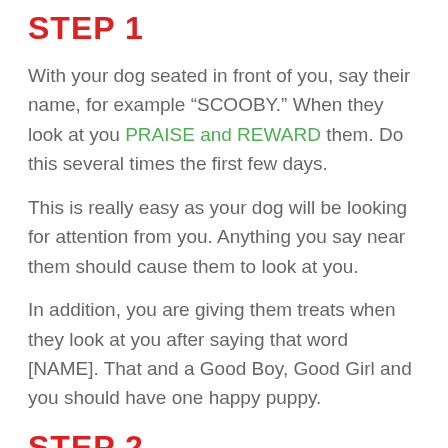STEP 1
With your dog seated in front of you, say their name, for example “SCOOBY.” When they look at you PRAISE and REWARD them. Do this several times the first few days.
This is really easy as your dog will be looking for attention from you. Anything you say near them should cause them to look at you.
In addition, you are giving them treats when they look at you after saying that word [NAME]. That and a Good Boy, Good Girl and you should have one happy puppy.
STEP 2